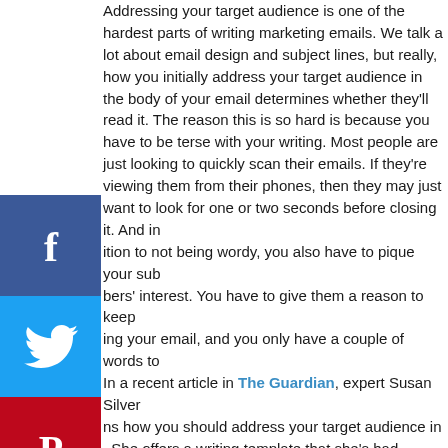Addressing your target audience is one of the hardest parts of writing marketing emails. We talk a lot about email design and subject lines, but really, how you initially address your target audience in the body of your email determines whether they'll read it. The reason this is so hard is because you have to be terse with your writing. Most people are just looking to quickly scan their emails. If they're viewing them from their phones, then they may just want to look for one or two seconds before closing it. And in addition to not being wordy, you also have to pique your subscribers' interest. You have to give them a reason to keep reading your email, and you only have a couple of words to do it. In a recent article in The Guardian, expert Susan Silver explains how you should address your target audience in emails. She offers a writing template that she's had success
[Figure (infographic): Social media sharing buttons column: Facebook (blue), Twitter (light blue), Pinterest (red), LinkedIn (dark blue)]
“To [target audience] that has [unmet need], our company is the [competitive set] that [key point of difference]...